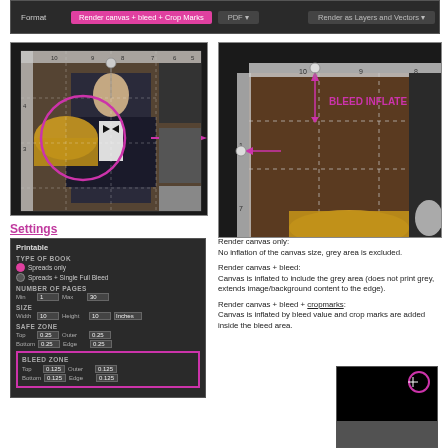[Figure (screenshot): Top toolbar showing Format, PDF dropdown, and 'Render canvas + bleed + Crop Marks' button and 'Render as Layers and Vectors' dropdown]
[Figure (screenshot): Left panel: photo of man in tuxedo with overlay grid lines and a pink circle indicating bleed area, with pink arrow pointing right]
[Figure (screenshot): Right panel: close-up zoomed view with 'BLEED INFLATE' label in pink, grid overlay, and pink arrows indicating bleed inflation]
Settings
[Figure (screenshot): Settings panel showing Printable options: Type of Book (Spreads only / Spreads + Single Full Bleed), Number of Pages (Min 1, Max 30), Size (Width 10, Height 10, Inches), Safe Zone (Top 0.25, Outer 0.25, Bottom 0.25, Edge 0.25), Bleed Zone highlighted in pink (Top 0.125, Outer 0.125, Bottom 0.125, Edge 0.125)]
Render canvas only:
No inflation of the canvas size, grey area is excluded.
Render canvas + bleed:
Canvas is inflated to include the grey area (does not print grey, extends image/background content to the edge).
Render canvas + bleed + cropmarks:
Canvas is inflated by bleed value and crop marks are added inside the bleed area.
[Figure (screenshot): Bottom right: dark screenshot with pink circle highlighting a corner crop mark area, showing a partial image below]